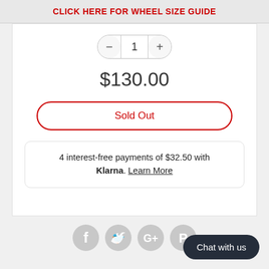CLICK HERE FOR WHEEL SIZE GUIDE
1
$130.00
Sold Out
4 interest-free payments of $32.50 with Klarna. Learn More
[Figure (other): Social media icons: Facebook, Twitter, Google+, Pinterest]
Chat with us